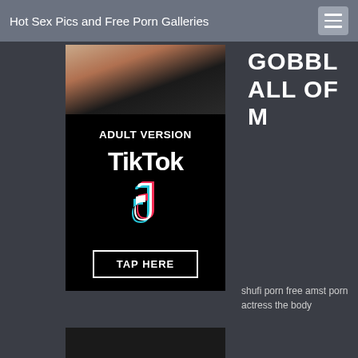Hot Sex Pics and Free Porn Galleries
[Figure (screenshot): Advertisement banner showing 'ADULT VERSION TikTok TAP HERE' with TikTok logo on black background, with a photo at top]
GOBBLE ALL OF M
shufi porn free amst porn actress the body
[Figure (photo): Dark image at bottom left, partially visible]